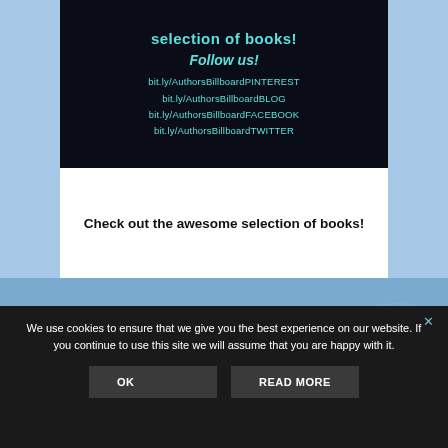[Figure (screenshot): Dark banner with teal/cyan text showing 'selection of books!', 'Follow us!' in italic, and social media links including bit.ly/AuthorsBillboardPINTEREST, bit.ly/AuthorsBillboardBLOG, bit.ly/AuthorsBillboardFACEBOOK, bit.ly/AuthorsBillboardTWITTER]
Check out the awesome selection of books!
We use cookies to ensure that we give you the best experience on our website. If you continue to use this site we will assume that you are happy with it.
OK
READ MORE